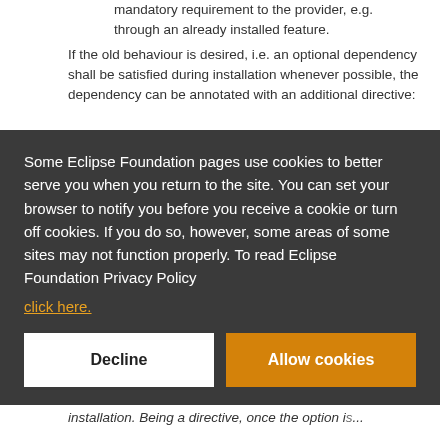mandatory requirement to the provider, e.g. through an already installed feature. If the old behaviour is desired, i.e. an optional dependency shall be satisfied during installation whenever possible, the dependency can be annotated with an additional directive:
Some Eclipse Foundation pages use cookies to better serve you when you return to the site. You can set your browser to notify you before you receive a cookie or turn off cookies. If you do so, however, some areas of some sites may not function properly. To read Eclipse Foundation Privacy Policy click here.
Decline
Allow cookies
p2 director, results in an Eclipse or RCP application installation. Being a directive, once the option is...